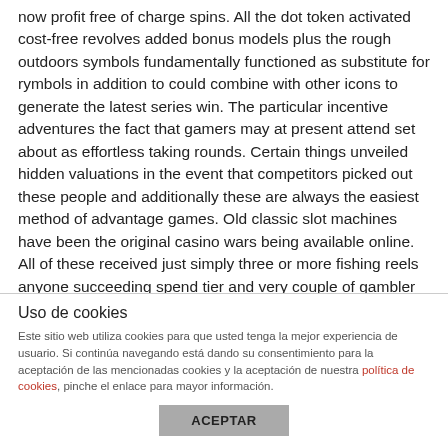now profit free of charge spins. All the dot token activated cost-free revolves added bonus models plus the rough outdoors symbols fundamentally functioned as substitute for rymbols in addition to could combine with other icons to generate the latest series win. The particular incentive adventures the fact that gamers may at present attend set about as effortless taking rounds. Certain things unveiled hidden valuations in the event that competitors picked out these people and additionally these are always the easiest method of advantage games. Old classic slot machines have been the original casino wars being available online. All of these received just simply three or more fishing reels anyone succeeding spend tier and very couple of gambler controls.
Uso de cookies
Este sitio web utiliza cookies para que usted tenga la mejor experiencia de usuario. Si continúa navegando está dando su consentimiento para la aceptación de las mencionadas cookies y la aceptación de nuestra política de cookies, pinche el enlace para mayor información.